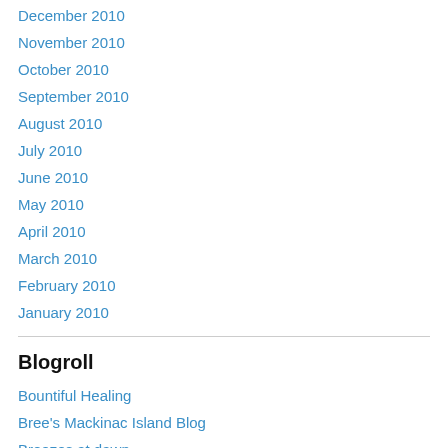December 2010
November 2010
October 2010
September 2010
August 2010
July 2010
June 2010
May 2010
April 2010
March 2010
February 2010
January 2010
Blogroll
Bountiful Healing
Bree's Mackinac Island Blog
Breezes at dawn
By the Sea